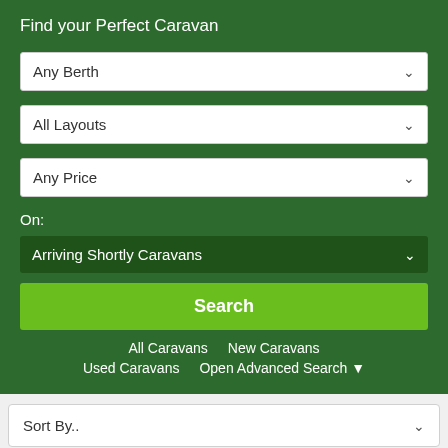Find your Perfect Caravan
Any Berth
All Layouts
Any Price
On:
Arriving Shortly Caravans
Search
All Caravans   New Caravans   Used Caravans   Open Advanced Search
Sort By..
10 Per Page